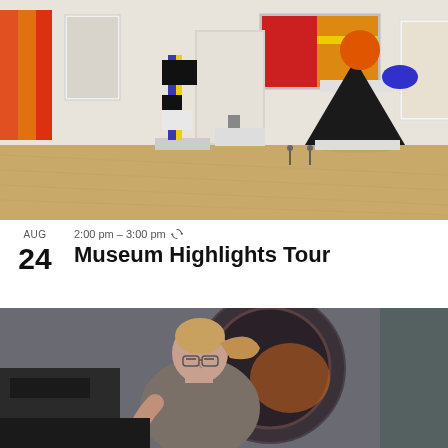[Figure (photo): Interior of an art museum gallery with colorful modern sculptures and paintings on walls. A tall geometric sculpture with black and yellow elements is in the foreground; a large black abstract sculpture with orange and blue circular elements is in the background.]
AUG
24
2:00 pm – 3:00 pm ↻
Museum Highlights Tour
[Figure (photo): A woman with blonde hair in a ponytail and glasses, wearing a gray t-shirt, leaning forward and working on something in what appears to be an art studio or workshop setting.]